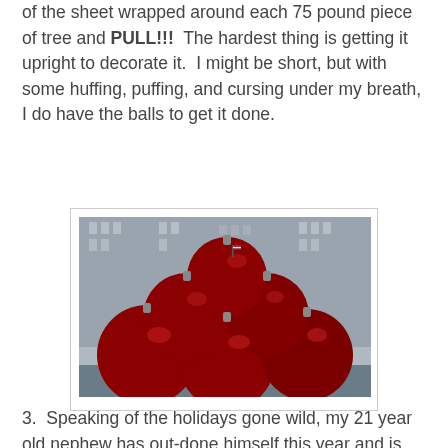of the sheet wrapped around each 75 pound piece of tree and PULL!!!  The hardest thing is getting it upright to decorate it.  I might be short, but with some huffing, puffing, and cursing under my breath, I do have the balls to get it done.
[Figure (photo): Large red Christmas ornament balls stacked in a pyramid display outdoors in front of a city building, likely Rockefeller Center, New York City.]
3.  Speaking of the holidays gone wild, my 21 year old nephew has out-done himself this year and is decorating the exterior of my sister-in-law's home with 100,000 lights.  Yep, that's right - 4 times more than Clark Griswold's house  in National Lampoon's Christmas Vacation movie!